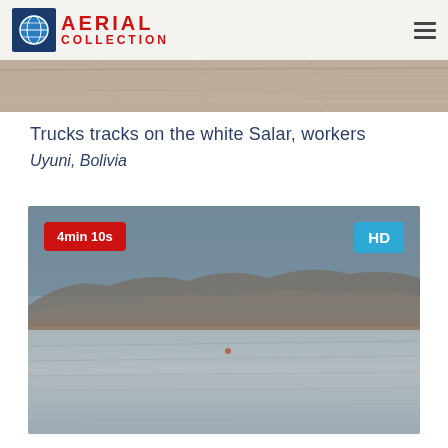AERIAL COLLECTION
[Figure (photo): Aerial photo strip showing desert/salt flat landscape from above]
Trucks tracks on the white Salar, workers
Uyuni, Bolivia
[Figure (photo): Aerial video thumbnail of Salar de Uyuni salt flat, Bolivia. Shows vast white salt flat with mountains in distance. Duration badge: 4min 10s. HD badge visible.]